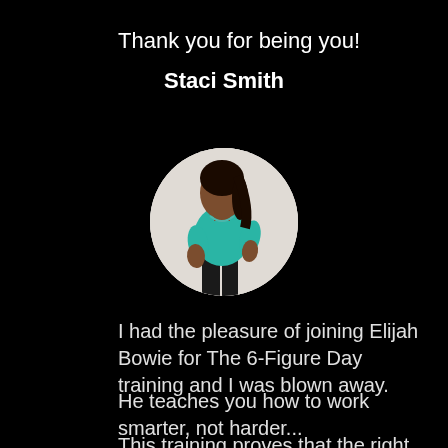Thank you for being you!
Staci Smith
[Figure (photo): Circular portrait photo of Staci Smith, a woman in a teal tank top posing against a white brick wall background.]
I had the pleasure of joining Elijah Bowie for The 6-Figure Day training and I was blown away.
He teaches you how to work smarter, not harder...
This training proves that the right process